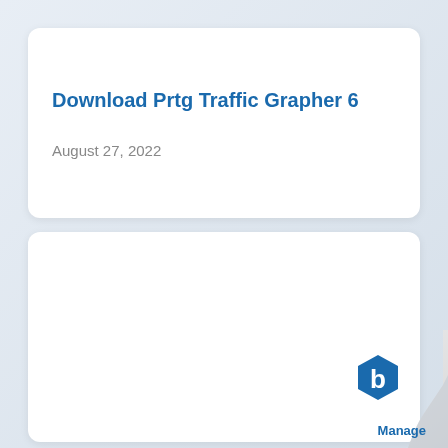Download Prtg Traffic Grapher 6
August 27, 2022
[Figure (logo): Blue hexagonal logo with letter b, labeled 'Manage' below, with a page-curl effect on the bottom-right corner]